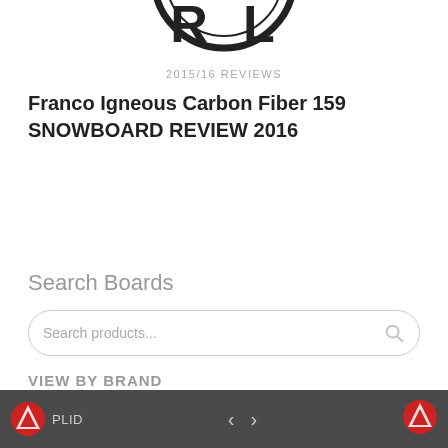[Figure (logo): Partial circular logo visible at top of page, black and white design cropped at top edge]
2015/16 REVIEWS
Franco Igneous Carbon Fiber 159 SNOWBOARD REVIEW 2016
Search Boards
Search products...
VIEW BY BRAND
PLID  < >